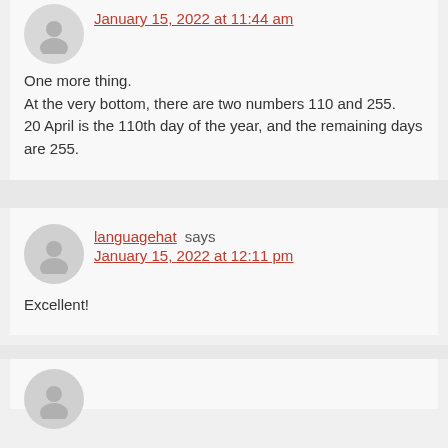January 15, 2022 at 11:44 am
One more thing.
At the very bottom, there are two numbers 110 and 255.
20 April is the 110th day of the year, and the remaining days are 255.
languagehat says
January 15, 2022 at 12:11 pm
Excellent!